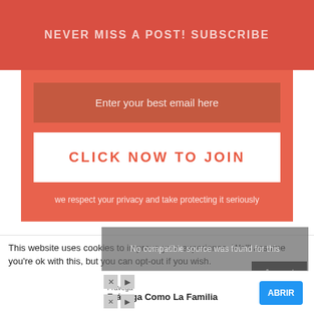NEVER MISS A POST! SUBSCRIBE
Enter your best email here
CLICK NOW TO JOIN
we respect your privacy and take protecting it seriously
This website uses cookies to improve your experience. We'll assume you're ok with this, but you can opt-out if you wish.
No compatible source was found for this
Frávega
Frávega Como La Familia
ABRIR